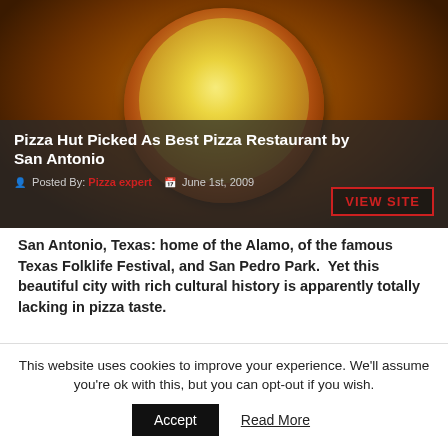[Figure (photo): Photo of a pizza in a box with a dark semi-transparent overlay band showing article title, author, date, and a VIEW SITE button]
Pizza Hut Picked As Best Pizza Restaurant by San Antonio
Posted By: Pizza expert   June 1st, 2009
San Antonio, Texas: home of the Alamo, of the famous Texas Folklife Festival, and San Pedro Park.  Yet this beautiful city with rich cultural history is apparently totally lacking in pizza taste.
This website uses cookies to improve your experience. We'll assume you're ok with this, but you can opt-out if you wish.